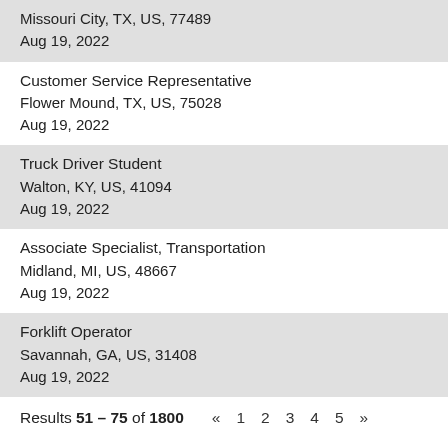Missouri City, TX, US, 77489
Aug 19, 2022
Customer Service Representative
Flower Mound, TX, US, 75028
Aug 19, 2022
Truck Driver Student
Walton, KY, US, 41094
Aug 19, 2022
Associate Specialist, Transportation
Midland, MI, US, 48667
Aug 19, 2022
Forklift Operator
Savannah, GA, US, 31408
Aug 19, 2022
Results 51 – 75 of 1800  « 1 2 3 4 5 »